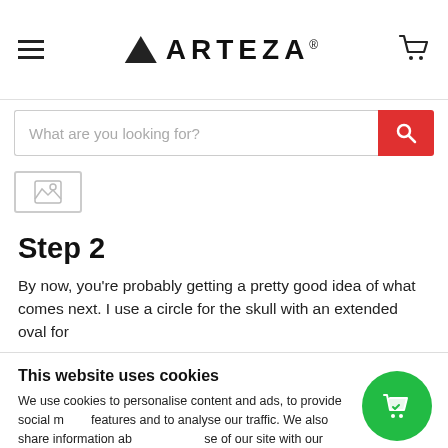ARTEZA
What are you looking for?
[Figure (other): Product image placeholder thumbnail]
Step 2
By now, you're probably getting a pretty good idea of what comes next. I use a circle for the skull with an extended oval for
This website uses cookies
We use cookies to personalise content and ads, to provide social media features and to analyse our traffic. We also share information about your use of our site with our social media, advertising and analytics partners who may combine it with other information that you've provided to them or they've collected from your use of their services.
OK
Show details